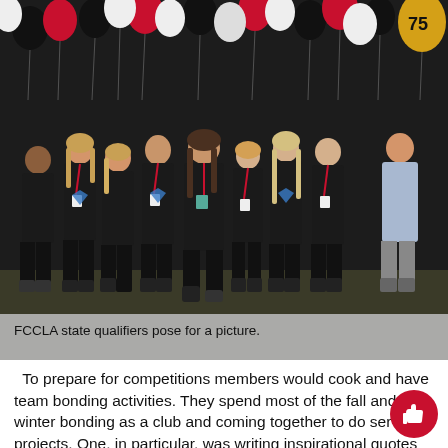[Figure (photo): Group photo of FCCLA state qualifiers posing in front of red, white, and black balloons. Nine young women wearing black t-shirts with diamond logos, most wearing name badges and lanyards. A gold balloon is visible at top right.]
FCCLA state qualifiers pose for a picture.
To prepare for competitions members would cook and have team bonding activities. They spend most of the fall and winter bonding as a club and coming together to do service projects. One, in particular, was writing inspirational quotes on the sidewalk outside of the school.